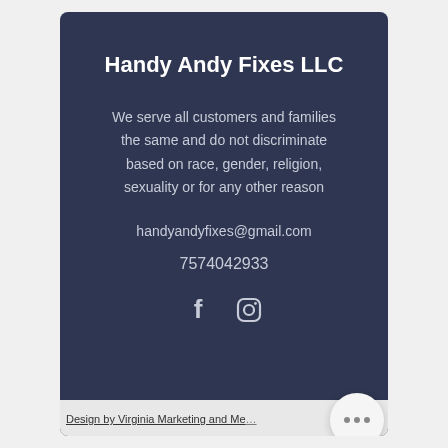Handy Andy Fixes LLC
We serve all customers and families the same and do not discriminate based on race, gender, religion, sexuality or for any other reason
handyandyfixes@gmail.com
7574042933
[Figure (illustration): Facebook and Instagram social media icons in white on dark background]
Design by Virginia Marketing and Me...